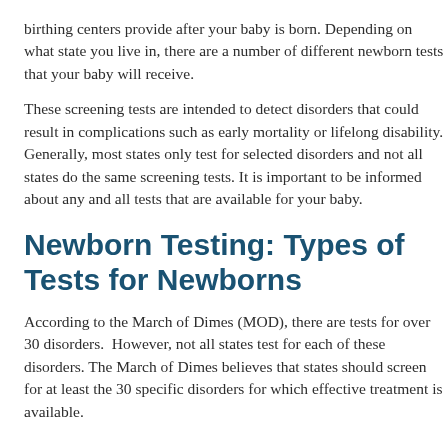birthing centers provide after your baby is born. Depending on what state you live in, there are a number of different newborn tests that your baby will receive.
These screening tests are intended to detect disorders that could result in complications such as early mortality or lifelong disability. Generally, most states only test for selected disorders and not all states do the same screening tests. It is important to be informed about any and all tests that are available for your baby.
Newborn Testing: Types of Tests for Newborns
According to the March of Dimes (MOD), there are tests for over 30 disorders.  However, not all states test for each of these disorders. The March of Dimes believes that states should screen for at least the 30 specific disorders for which effective treatment is available.